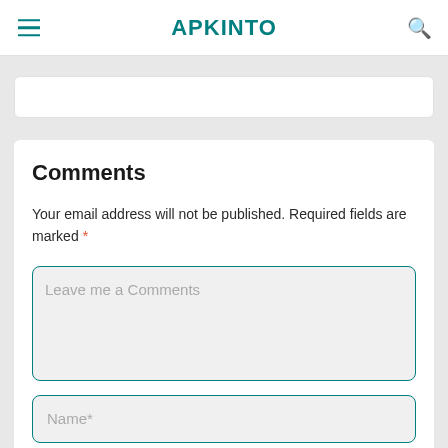APKINTO
Comments
Your email address will not be published. Required fields are marked *
Leave me a Comments
Name*
Email*